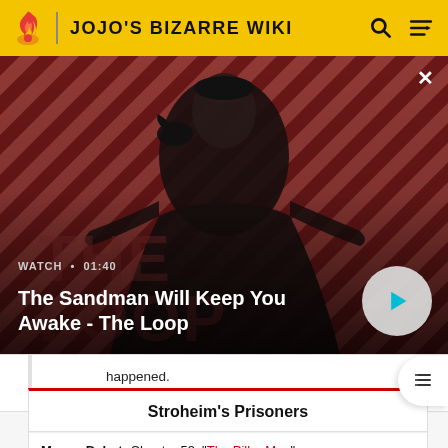JOJO'S BIZARRE WIKI
[Figure (screenshot): Video thumbnail for 'The Sandman Will Keep You Awake - The Loop', showing a dark figure with a raven on a red diagonal-striped background. Watch time: 01:40.]
happened.
Stroheim's Prisoners
Manga Debut: Chapter 53: "The Pillar Man"